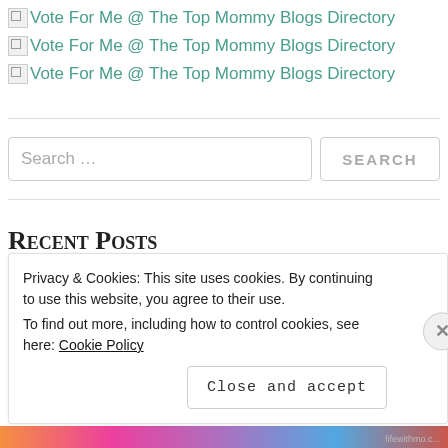[Figure (other): Broken image icon followed by text 'Vote For Me @ The Top Mommy Blogs Directory' as a link (first instance)]
[Figure (other): Broken image icon followed by text 'Vote For Me @ The Top Mommy Blogs Directory' as a link (second instance)]
[Figure (other): Broken image icon followed by text 'Vote For Me @ The Top Mommy Blogs Directory' as a link (third instance)]
Search ...
Recent Posts
Privacy & Cookies: This site uses cookies. By continuing to use this website, you agree to their use. To find out more, including how to control cookies, see here: Cookie Policy
Close and accept